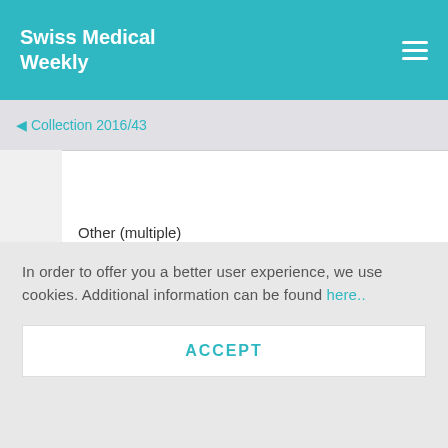Swiss Medical Weekly
◀ Collection 2016/43
| Other (multiple) |
| Life expectancy due to chronic and/or malignant Diseases (s |
In order to offer you a better user experience, we use cookies. Additional information can be found here..
ACCEPT